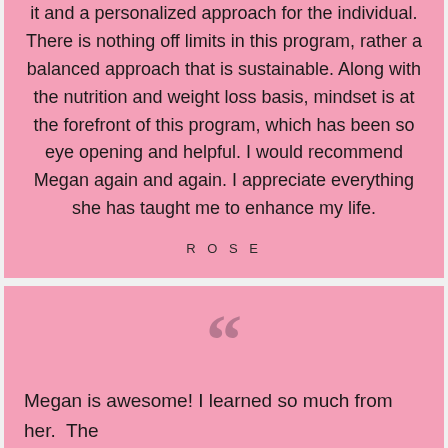it and a personalized approach for the individual. There is nothing off limits in this program, rather a balanced approach that is sustainable. Along with the nutrition and weight loss basis, mindset is at the forefront of this program, which has been so eye opening and helpful. I would recommend Megan again and again. I appreciate everything she has taught me to enhance my life.
ROSE
[Figure (illustration): Large decorative opening quotation marks in muted pink/mauve color]
Megan is awesome! I learned so much from her. The